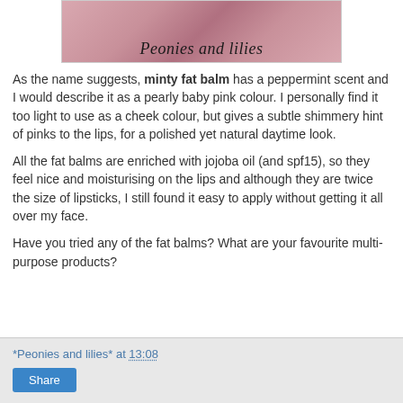[Figure (photo): Close-up photo of lips with pink shimmer, with text overlay reading 'Peonies and lilies' in italic script]
As the name suggests, minty fat balm has a peppermint scent and I would describe it as a pearly baby pink colour. I personally find it too light to use as a cheek colour, but gives a subtle shimmery hint of pinks to the lips, for a polished yet natural daytime look.
All the fat balms are enriched with jojoba oil (and spf15), so they feel nice and moisturising on the lips and although they are twice the size of lipsticks, I still found it easy to apply without getting it all over my face.
Have you tried any of the fat balms? What are your favourite multi-purpose products?
*Peonies and lilies* at 13:08  Share